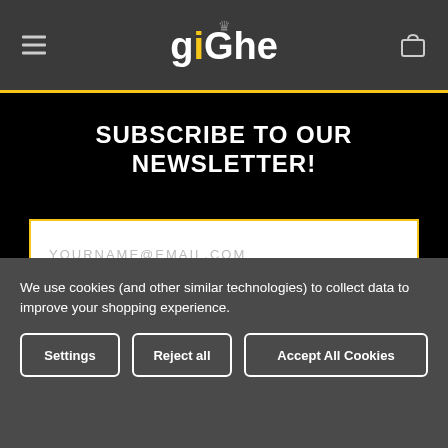[Figure (logo): Website header with hamburger menu icon on left, stylized 'giGhe' logo in center, cart icon on right, on dark gray background]
SUBSCRIBE TO OUR NEWSLETTER!
YOURNAME@EMAIL.COM
Subscribe
We use cookies (and other similar technologies) to collect data to improve your shopping experience.
Settings
Reject all
Accept All Cookies